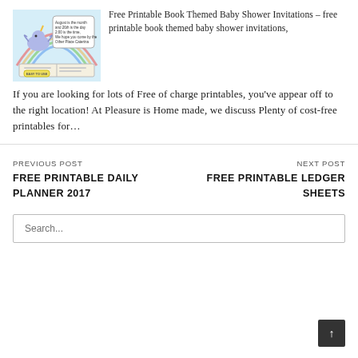[Figure (illustration): A colorful illustration of a book-themed baby shower invitation with a dragon/unicorn character flying over a rainbow and open book, with text details visible]
Free Printable Book Themed Baby Shower Invitations – free printable book themed baby shower invitations, If you are looking for lots of Free of charge printables, you've appear off to the right location! At Pleasure is Home made, we discuss Plenty of cost-free printables for…
PREVIOUS POST FREE PRINTABLE DAILY PLANNER 2017
NEXT POST FREE PRINTABLE LEDGER SHEETS